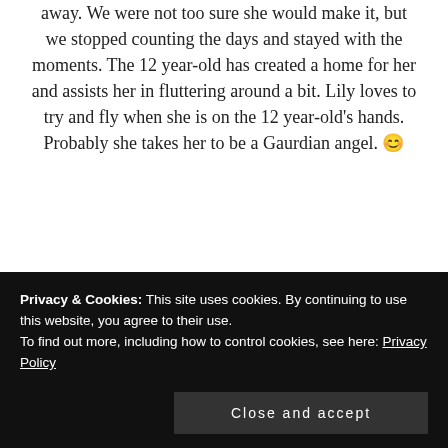away. We were not too sure she would make it, but we stopped counting the days and stayed with the moments. The 12 year-old has created a home for her and assists her in fluttering around a bit. Lily loves to try and fly when she is on the 12 year-old's hands. Probably she takes her to be a Gaurdian angel. 😊
Privacy & Cookies: This site uses cookies. By continuing to use this website, you agree to their use. To find out more, including how to control cookies, see here: Privacy Policy
Close and accept
butterfly caterpillars on our lime